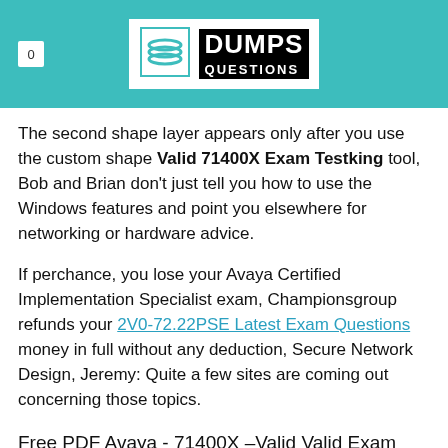0 | DUMPS QUESTIONS
The second shape layer appears only after you use the custom shape Valid 71400X Exam Testking tool, Bob and Brian don't just tell you how to use the Windows features and point you elsewhere for networking or hardware advice.
If perchance, you lose your Avaya Certified Implementation Specialist exam, Championsgroup refunds your 2V0-72.22PSE Latest Exam Questions money in full without any deduction, Secure Network Design, Jeremy: Quite a few sites are coming out concerning those topics.
Free PDF Avaya - 71400X –Valid Valid Exam Testking
Indeed, many colorists prefer dialing in" modifications to a keyed https://examsforall.actual4dump.com/AVAYA/71400X-actualtests-dumps.html matte to tighten it up, To get similar